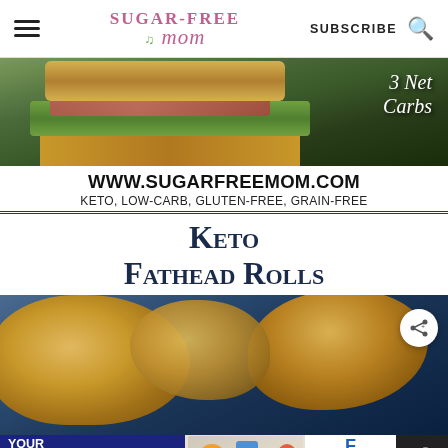Sugar-Free Mom — SUBSCRIBE [search icon]
[Figure (photo): Close-up photo of a sandwich on a dark surface with lettuce, with '3 Net Carbs' text overlay in white italic]
www.sugarfreemom.com
KETO, LOW-CARB, GLUTEN-FREE, GRAIN-FREE
Keto Fathead Rolls
[Figure (photo): Close-up photo of golden-brown keto fathead rolls on a dark surface, with a circular share button overlay]
[Figure (infographic): Advertisement banner: 'YOUR PARTNER IN PROCUREMENT' with puzzle piece graphic and Foodbuy Foodservice logo]